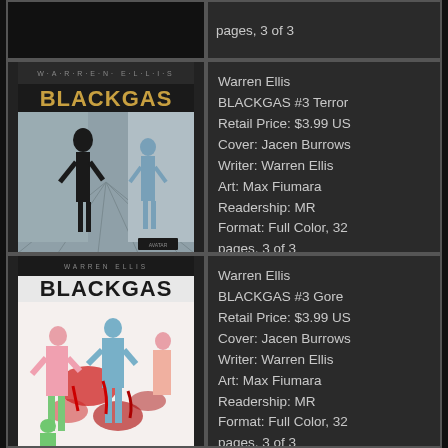[Figure (illustration): Partial view of comic book cover at top (cropped), dark tones]
pages, 3 of 3
[Figure (illustration): Warren Ellis BLACKGAS #3 Terror cover — dark horror scene with skeletal/monstrous figure and person in hallway]
Warren Ellis BLACKGAS #3 Terror
Retail Price: $3.99 US
Cover: Jacen Burrows
Writer: Warren Ellis
Art: Max Fiumara
Readership: MR
Format: Full Color, 32 pages, 3 of 3
[Figure (illustration): Warren Ellis BLACKGAS #3 Gore cover — bloody horror scene with figures in pink medical/butcher setting]
Warren Ellis BLACKGAS #3 Gore
Retail Price: $3.99 US
Cover: Jacen Burrows
Writer: Warren Ellis
Art: Max Fiumara
Readership: MR
Format: Full Color, 32 pages, 3 of 3